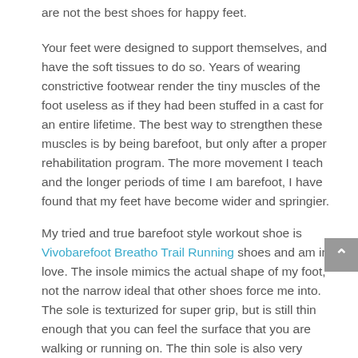are not the best shoes for happy feet.
Your feet were designed to support themselves, and have the soft tissues to do so. Years of wearing constrictive footwear render the tiny muscles of the foot useless as if they had been stuffed in a cast for an entire lifetime. The best way to strengthen these muscles is by being barefoot, but only after a proper rehabilitation program. The more movement I teach and the longer periods of time I am barefoot, I have found that my feet have become wider and springier.
My tried and true barefoot style workout shoe is Vivobarefoot Breatho Trail Running shoes and am in love. The insole mimics the actual shape of my foot, not the narrow ideal that other shoes force me into. The sole is texturized for super grip, but is still thin enough that you can feel the surface that you are walking or running on. The thin sole is also very protective – just stepped on some cactus, and other